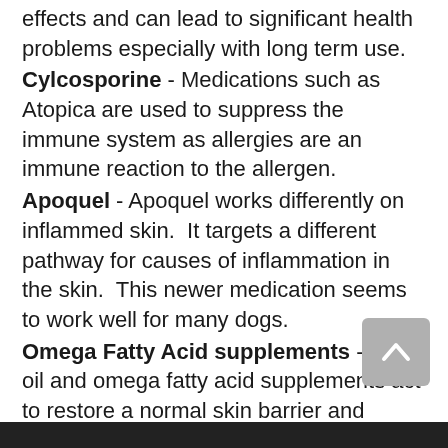effects and can lead to significant health problems especially with long term use.
Cylcosporine - Medications such as Atopica are used to suppress the immune system as allergies are an immune reaction to the allergen.
Apoquel - Apoquel works differently on inflammed skin.  It targets a different pathway for causes of inflammation in the skin.  This newer medication seems to work well for many dogs.
Omega Fatty Acid supplements - Fish oil and omega fatty acid supplements act to restore a normal skin barrier and reduce inflammation.  Improving the skin barrier reduces infection by not